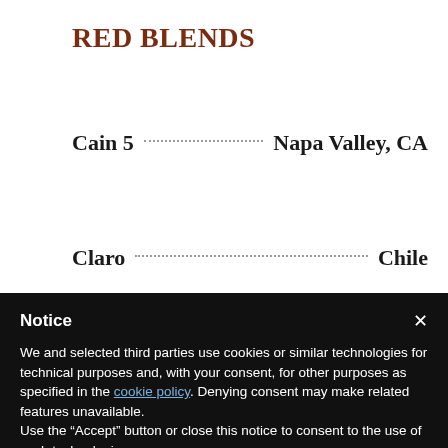RED BLENDS
Cain 5 .............................................................. Napa Valley, CA
Claro ................................................................. Chile
Notice
We and selected third parties use cookies or similar technologies for technical purposes and, with your consent, for other purposes as specified in the cookie policy. Denying consent may make related features unavailable.
Use the "Accept" button or close this notice to consent to the use of such technologies.
Accept
Learn more and customize